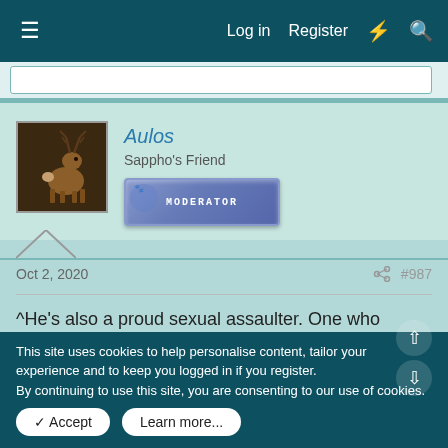Log in  Register
[Figure (screenshot): User avatar showing a stylized deer/stag figure on dark background]
Aulos
Sappho's Friend
MODERATOR
Oct 2, 2020  #987
^He's also a proud sexual assaulter. One who boasted about it on tape, saying he could get away with it because of his fame and power. In another interview, he boasted about walking into the women's dressing rooms at his pageants to check them out naked.
This site uses cookies to help personalise content, tailor your experience and to keep you logged in if you register.
By continuing to use this site, you are consenting to our use of cookies.
✓ Accept    Learn more...